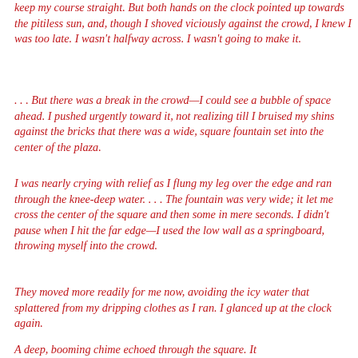keep my course straight. But both hands on the clock pointed up towards the pitiless sun, and, though I shoved viciously against the crowd, I knew I was too late. I wasn't halfway across. I wasn't going to make it.
. . . But there was a break in the crowd—I could see a bubble of space ahead. I pushed urgently toward it, not realizing till I bruised my shins against the bricks that there was a wide, square fountain set into the center of the plaza.
I was nearly crying with relief as I flung my leg over the edge and ran through the knee-deep water. . . . The fountain was very wide; it let me cross the center of the square and then some in mere seconds. I didn't pause when I hit the far edge—I used the low wall as a springboard, throwing myself into the crowd.
They moved more readily for me now, avoiding the icy water that splattered from my dripping clothes as I ran. I glanced up at the clock again.
A deep, booming chime echoed through the square. It